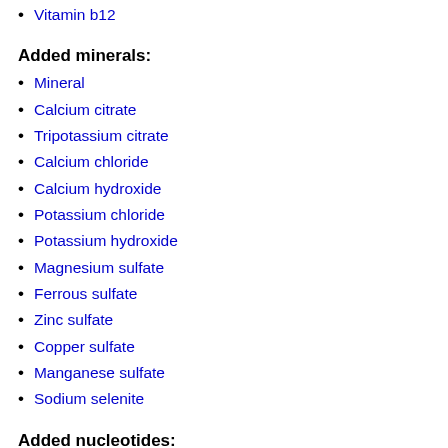Vitamin b12
Added minerals:
Mineral
Calcium citrate
Tripotassium citrate
Calcium chloride
Calcium hydroxide
Potassium chloride
Potassium hydroxide
Magnesium sulfate
Ferrous sulfate
Zinc sulfate
Copper sulfate
Manganese sulfate
Sodium selenite
Added nucleotides:
Nucleotides